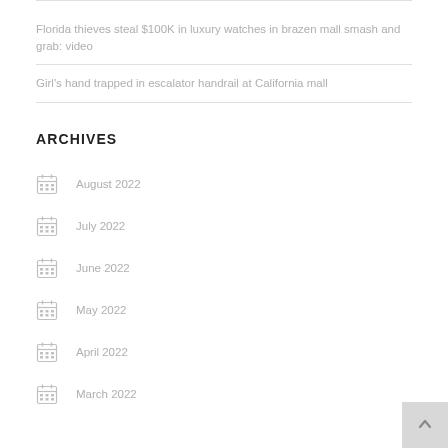Florida thieves steal $100K in luxury watches in brazen mall smash and grab: video
Girl's hand trapped in escalator handrail at California mall
ARCHIVES
August 2022
July 2022
June 2022
May 2022
April 2022
March 2022